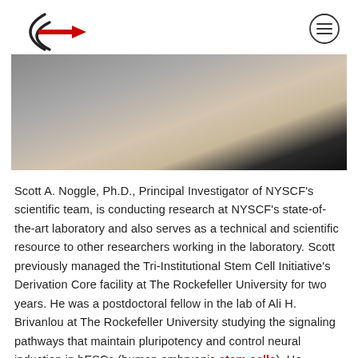NYSCF logo and navigation menu
[Figure (photo): Close-up photo of a person's chin and neck area, partially cropped, with dark clothing visible]
Scott A. Noggle, Ph.D., Principal Investigator of NYSCF's scientific team, is conducting research at NYSCF's state-of-the-art laboratory and also serves as a technical and scientific resource to other researchers working in the laboratory. Scott previously managed the Tri-Institutional Stem Cell Initiative's Derivation Core facility at The Rockefeller University for two years. He was a postdoctoral fellow in the lab of Ali H. Brivanlou at The Rockefeller University studying the signaling pathways that maintain pluripotency and control neural induction in hESCs (human embryonic stem cells). He received his